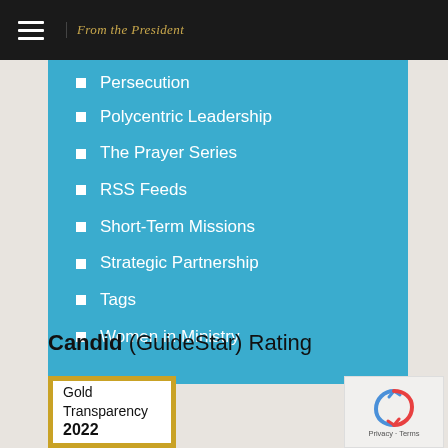From the President
Persecution
Polycentric Leadership
The Prayer Series
RSS Feeds
Short-Term Missions
Strategic Partnership
Tags
Women in Ministry
Candid (GuideStar) Rating
[Figure (other): Gold Transparency 2022 badge with gold border]
[Figure (other): reCAPTCHA logo with Privacy - Terms text]